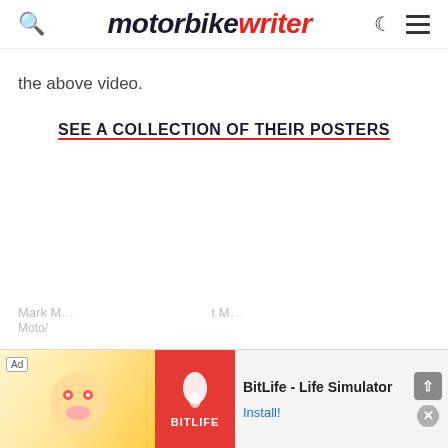motorbike writer
the above video.
SEE A COLLECTION OF THEIR POSTERS
Mark ... Moto/...
[Figure (screenshot): BitLife - Life Simulator advertisement banner at bottom of screen with Ad label, cartoon character mascot, red BitLife logo box, and Install! button]